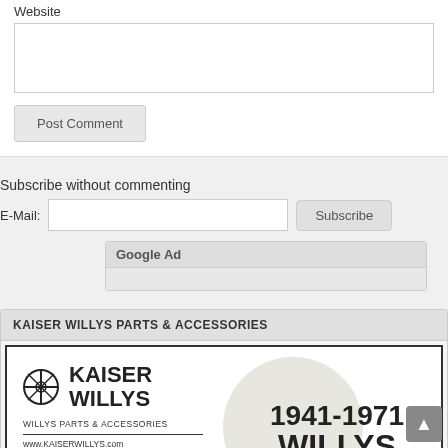Website
[Figure (screenshot): Website text input field (empty)]
[Figure (screenshot): Post Comment button]
Subscribe without commenting
E-Mail:
[Figure (screenshot): E-Mail input field and Subscribe button]
[Figure (screenshot): Google Ad placeholder box]
KAISER WILLYS PARTS & ACCESSORIES
[Figure (illustration): Kaiser Willys Parts & Accessories advertisement. Shows Kaiser Willys logo with circle emblem, text '1941-1971 WILLYS', website www.KAISERWILLYS.com, and '*Free Parts Catalog' in red italic. Background shows a circular grey design with a Willys vehicle image.]